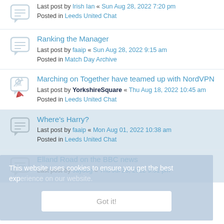Last post by Irish Ian « Sun Aug 28, 2022 7:20 pm
Posted in Leeds United Chat
Ranking the Manager
Last post by faaip « Sun Aug 28, 2022 9:15 am
Posted in Match Day Archive
Marching on Together have teamed up with NordVPN
Last post by YorkshireSquare « Thu Aug 18, 2022 10:45 am
Posted in Leeds United Chat
Where's Harry?
Last post by faaip « Mon Aug 01, 2022 10:38 am
Posted in Leeds United Chat
Elland Road on the BBC news
Last post by Jaydog « Thu Jul 28, 2022 9:51 pm
This website uses cookies to ensure you get the best experience on our website.
Got it!